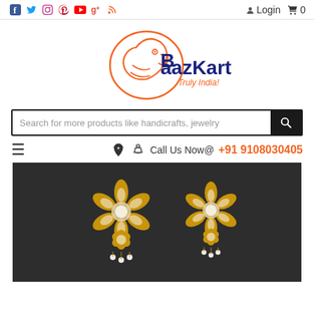Social icons: Facebook, Twitter, Instagram, Pinterest, YouTube, Google+, RSS | Login | Cart 0
[Figure (logo): BaazKart logo with parrot graphic and text 'BaazKart Truly India!']
Search for more products like handicrafts, jewelry
☰  🎧 Call Us Now@  +91 9108030405
[Figure (photo): Gold kundan floral earrings with pearl drops on dark background]